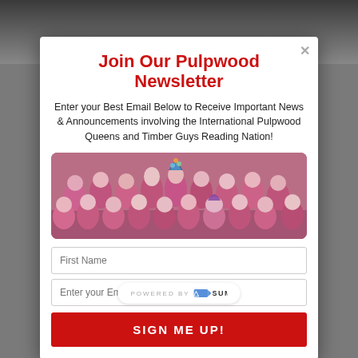Join Our Pulpwood Newsletter
Enter your Best Email Below to Receive Important News & Announcements involving the International Pulpwood Queens and Timber Guys Reading Nation!
[Figure (photo): Group photo of people wearing pink shirts seated together at an event]
First Name
Enter your Email
SIGN ME UP!
POWERED BY SUMO
Weekend Slumber Party! (all attending are encouraged to where their pajamas including